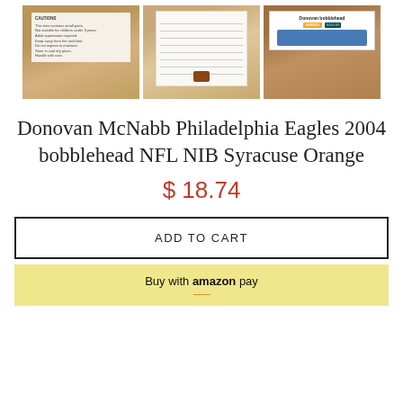[Figure (photo): Three product photos side by side showing the back of a bobblehead box with text, a notepad with lines and a brown stamp, and a white box top with 'Donovan bobblehead' text and Sunoco/Eagles logos]
Donovan McNabb Philadelphia Eagles 2004 bobblehead NFL NIB Syracuse Orange
$ 18.74
ADD TO CART
Buy with amazon pay